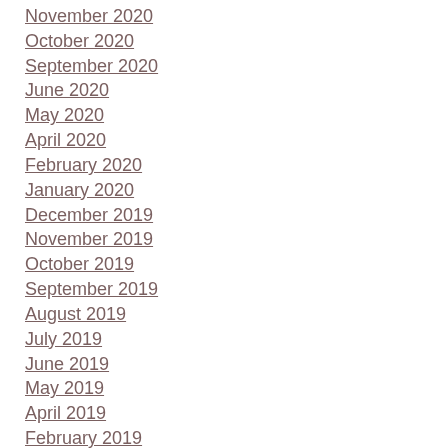November 2020
October 2020
September 2020
June 2020
May 2020
April 2020
February 2020
January 2020
December 2019
November 2019
October 2019
September 2019
August 2019
July 2019
June 2019
May 2019
April 2019
February 2019
January 2019